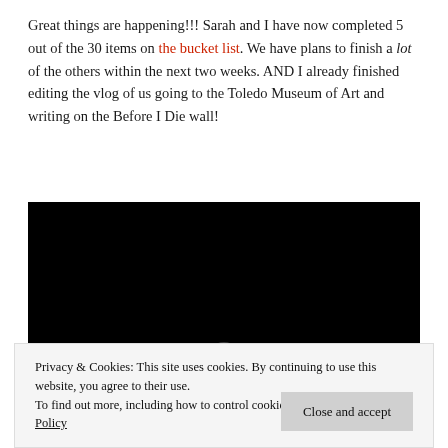Great things are happening!!! Sarah and I have now completed 5 out of the 30 items on the bucket list. We have plans to finish a lot of the others within the next two weeks. AND I already finished editing the vlog of us going to the Toledo Museum of Art and writing on the Before I Die wall!
[Figure (screenshot): Embedded video player with black background and a play button at the bottom center]
Privacy & Cookies: This site uses cookies. By continuing to use this website, you agree to their use.
To find out more, including how to control cookies, see here: Cookie Policy